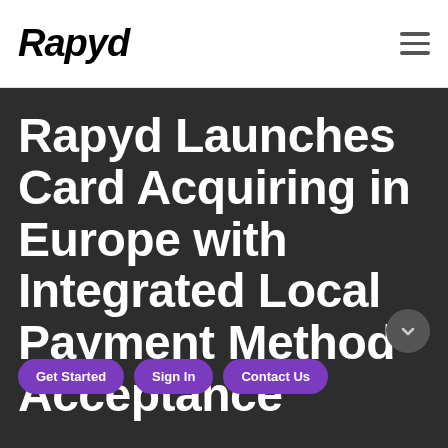Rapyd
Rapyd Launches Card Acquiring in Europe with Integrated Local Payment Method Acceptance